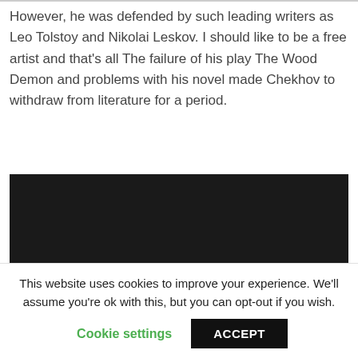However, he was defended by such leading writers as Leo Tolstoy and Nikolai Leskov. I should like to be a free artist and that's all The failure of his play The Wood Demon and problems with his novel made Chekhov to withdraw from literature for a period.
[Figure (screenshot): Dark video player showing 'Video unavailable' message]
This website uses cookies to improve your experience. We'll assume you're ok with this, but you can opt-out if you wish.
Cookie settings   ACCEPT